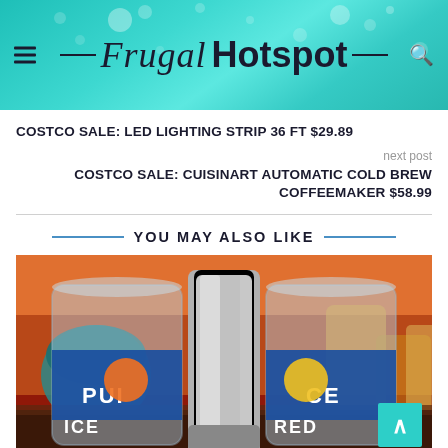Frugal Hotspot
COSTCO SALE: LED LIGHTING STRIP 36 FT $29.89
next post
COSTCO SALE: CUISINART AUTOMATIC COLD BREW COFFEEMAKER $58.99
YOU MAY ALSO LIKE
[Figure (photo): Photo of two canned juice bottles (labeled PUR and CE, RED visible) flanking a silver can opener or kitchen tool, on a counter with blurred kitchen background]